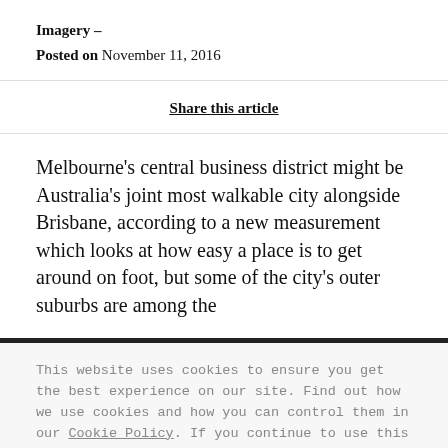Imagery –
Posted on November 11, 2016
Share this article
Melbourne's central business district might be Australia's joint most walkable city alongside Brisbane, according to a new measurement which looks at how easy a place is to get around on foot, but some of the city's outer suburbs are among the
This website uses cookies to ensure you get the best experience on our site. Find out how we use cookies and how you can control them in our Cookie Policy. If you continue to use this site, you consent to our use of cookies.
Got it